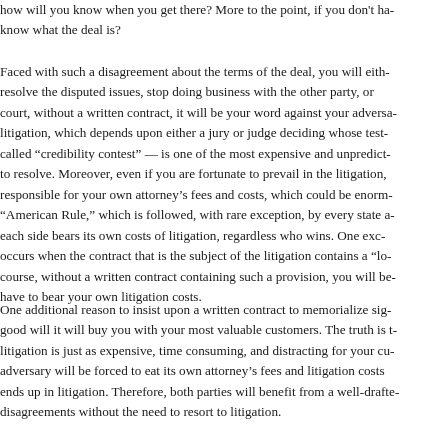how will you know when you get there? More to the point, if you don't ha- know what the deal is?
Faced with such a disagreement about the terms of the deal, you will eith- resolve the disputed issues, stop doing business with the other party, or court, without a written contract, it will be your word against your adversa- litigation, which depends upon either a jury or judge deciding whose test- called "credibility contest" — is one of the most expensive and unpredict- to resolve. Moreover, even if you are fortunate to prevail in the litigation, responsible for your own attorney's fees and costs, which could be enorm- "American Rule," which is followed, with rare exception, by every state a- each side bears its own costs of litigation, regardless who wins. One exc- occurs when the contract that is the subject of the litigation contains a "lo- course, without a written contract containing such a provision, you will be- have to bear your own litigation costs.
One additional reason to insist upon a written contract to memorialize sig- good will it will buy you with your most valuable customers. The truth is t- litigation is just as expensive, time consuming, and distracting for your cu- adversary will be forced to eat its own attorney's fees and litigation costs ends up in litigation. Therefore, both parties will benefit from a well-drafte- disagreements without the need to resort to litigation.